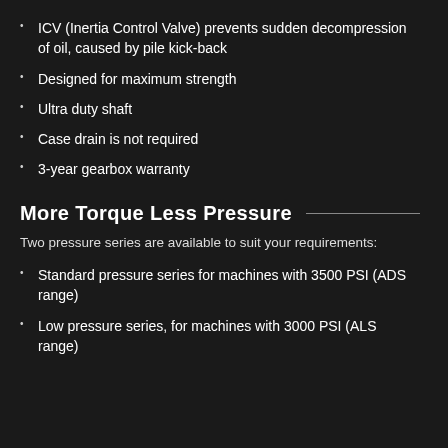ICV (Inertia Control Valve) prevents sudden decompression of oil, caused by pile kick-back
Designed for maximum strength
Ultra duty shaft
Case drain is not required
3-year gearbox warranty
More Torque Less Pressure
Two pressure series are available to suit your requirements:
Standard pressure series for machines with 3500 PSI (ADS range)
Low pressure series, for machines with 3000 PSI (ALS range)